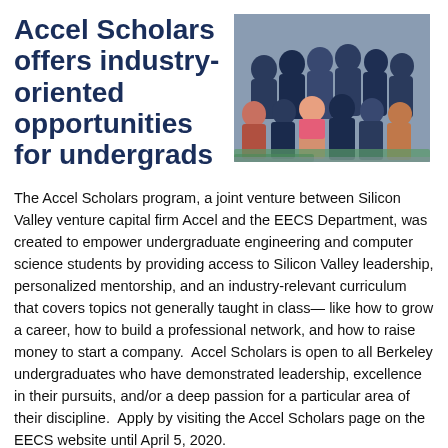Accel Scholars offers industry-oriented opportunities for undergrads
[Figure (photo): Group photo of Accel Scholars students seated and standing together indoors]
The Accel Scholars program, a joint venture between Silicon Valley venture capital firm Accel and the EECS Department, was created to empower undergraduate engineering and computer science students by providing access to Silicon Valley leadership, personalized mentorship, and an industry-relevant curriculum that covers topics not generally taught in class— like how to grow a career, how to build a professional network, and how to raise money to start a company.  Accel Scholars is open to all Berkeley undergraduates who have demonstrated leadership, excellence in their pursuits, and/or a deep passion for a particular area of their discipline.  Apply by visiting the Accel Scholars page on the EECS website until April 5, 2020.